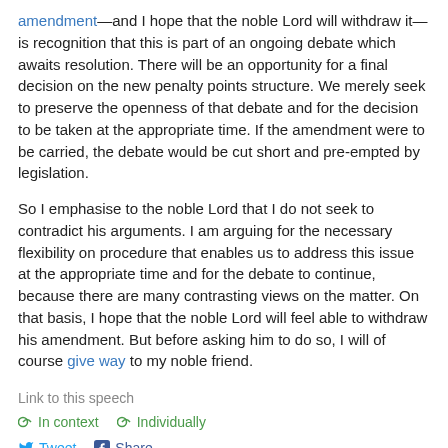amendment—and I hope that the noble Lord will withdraw it—is recognition that this is part of an ongoing debate which awaits resolution. There will be an opportunity for a final decision on the new penalty points structure. We merely seek to preserve the openness of that debate and for the decision to be taken at the appropriate time. If the amendment were to be carried, the debate would be cut short and pre-empted by legislation.
So I emphasise to the noble Lord that I do not seek to contradict his arguments. I am arguing for the necessary flexibility on procedure that enables us to address this issue at the appropriate time and for the debate to continue, because there are many contrasting views on the matter. On that basis, I hope that the noble Lord will feel able to withdraw his amendment. But before asking him to do so, I will of course give way to my noble friend.
Link to this speech
In context   Individually
Tweet   Share
Hansard source (Citation: HL Deb, 10 January 2006, c62)